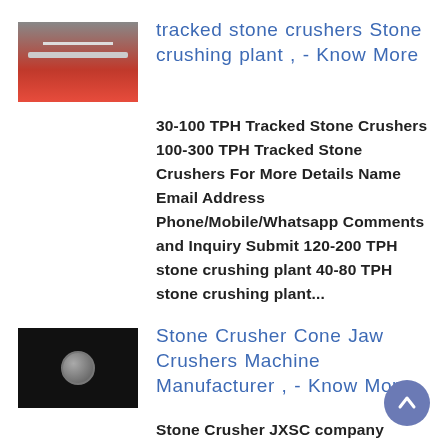[Figure (photo): Thumbnail image of a stone crusher / conveyor belt, showing machinery with red and grey tones]
tracked stone crushers Stone crushing plant , - Know More
30-100 TPH Tracked Stone Crushers 100-300 TPH Tracked Stone Crushers For More Details Name Email Address Phone/Mobile/Whatsapp Comments and Inquiry Submit 120-200 TPH stone crushing plant 40-80 TPH stone crushing plant...
[Figure (photo): Thumbnail image of a stone crusher bolt/mechanism on black background]
Stone Crusher Cone Jaw Crushers Machine Manufacturer , - Know More
Stone Crusher JXSC company stone rock crushers include cone crusher, jaw